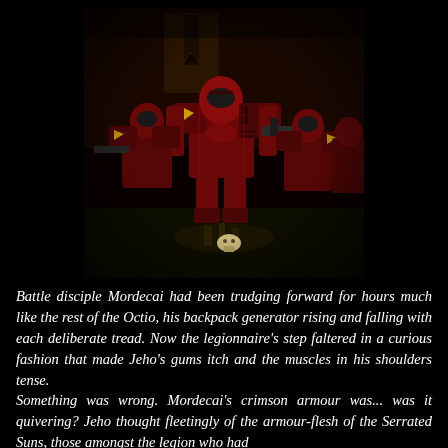[Figure (photo): Close-up photograph of painted Warhammer 40K Space Marine miniatures in dark crimson/blood red armour, posed dynamically on tabletop bases. Dark background. Multiple figures visible with detailed armour and weapons.]
Battle disciple Mordecai had been trudging forward for hours much like the rest of the Octio, his backpack generator rising and falling with each deliberate tread. Now the legionnaire's step faltered in a curious fashion that made Jeho's gums itch and the muscles in his shoulders tense.
Something was wrong. Mordecai's crimson armour was... was it quivering? Jeho thought fleetingly of the armour-flesh of the Serrated Suns, those amongst the legion who had